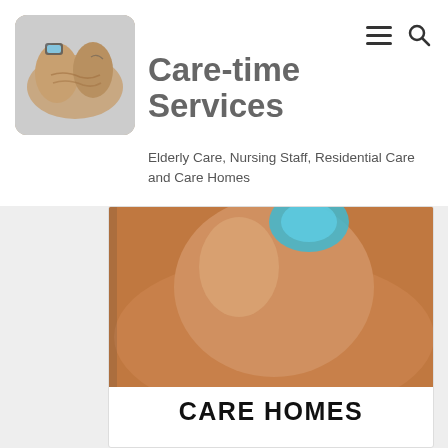[Figure (photo): Logo image showing elderly hands cupped together with a younger hand, with a wristwatch visible]
[Figure (infographic): Hamburger menu icon and magnifying glass search icon]
Care-time Services
Elderly Care, Nursing Staff, Residential Care and Care Homes
[Figure (photo): Close-up photo of a hand holding something with a blue circular element visible, warm skin tones]
CARE HOMES
Sometimes there's no better place than a care home for a mother, father or grandparent.